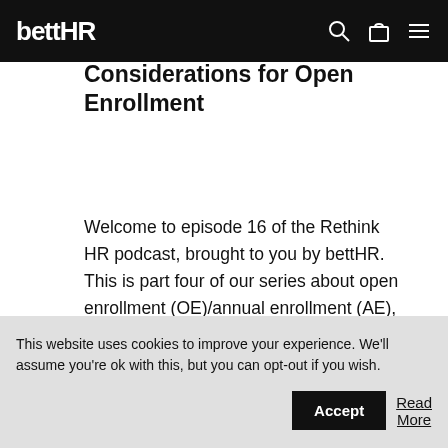bettHR
Considerations for Open Enrollment
Welcome to episode 16 of the Rethink HR podcast, brought to you by bettHR. This is part four of our series about open enrollment (OE)/annual enrollment (AE), focused on how to make your OE a more
This website uses cookies to improve your experience. We'll assume you're ok with this, but you can opt-out if you wish. Accept Read More